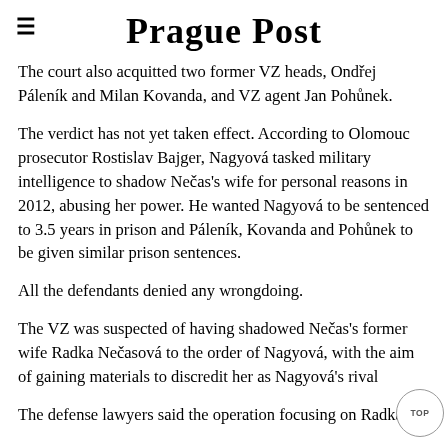Prague Post
The court also acquitted two former VZ heads, Ondřej Páleník and Milan Kovanda, and VZ agent Jan Pohůnek.
The verdict has not yet taken effect. According to Olomouc prosecutor Rostislav Bajger, Nagyová tasked military intelligence to shadow Nečas’s wife for personal reasons in 2012, abusing her power. He wanted Nagyová to be sentenced to 3.5 years in prison and Páleník, Kovanda and Pohůnek to be given similar prison sentences.
All the defendants denied any wrongdoing.
The VZ was suspected of having shadowed Nečas’s former wife Radka Nečasová to the order of Nagyová, with the aim of gaining materials to discredit her as Nagyová’s rival
The defense lawyers said the operation focusing on Radka